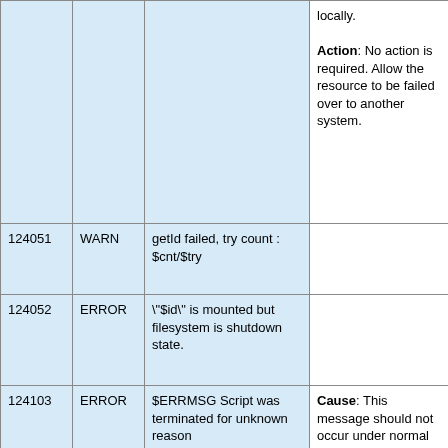|  |  |  |  |
| --- | --- | --- | --- |
|  |  |  | locally.

Action: No action is required. Allow the resource to be failed over to another system. |
| 124051 | WARN | getId failed, try count : $cnt/$try |  |
| 124052 | ERROR | \"$id\" is mounted but filesystem is shutdown state. |  |
| 124103 | ERROR | $ERRMSG Script was terminated for unknown reason | Cause: This message should not occur under normal circumstances.

Action: Check |